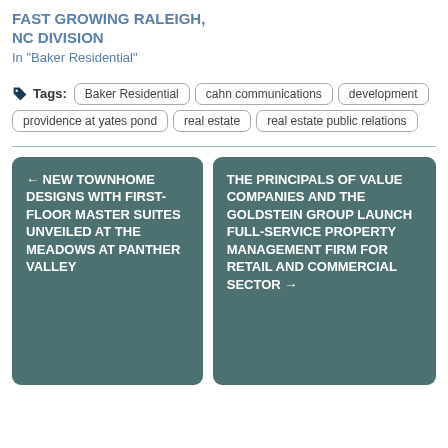FAST GROWING RALEIGH, NC DIVISION
In "Baker Residential"
Tags: Baker Residential | cahn communications | development | providence at yates pond | real estate | real estate public relations
← NEW TOWNHOME DESIGNS WITH FIRST-FLOOR MASTER SUITES UNVEILED AT THE MEADOWS AT PANTHER VALLEY
THE PRINCIPALS OF VALUE COMPANIES AND THE GOLDSTEIN GROUP LAUNCH FULL-SERVICE PROPERTY MANAGEMENT FIRM FOR RETAIL AND COMMERCIAL SECTOR →